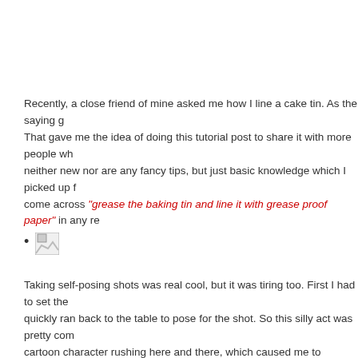Recently, a close friend of mine asked me how I line a cake tin. As the saying g... That gave me the idea of doing this tutorial post to share it with more people wh... neither new nor are any fancy tips, but just basic knowledge which I picked up f... come across "grease the baking tin and line it with grease proof paper" in any re...
[Figure (photo): Small broken/placeholder image icon]
Taking self-posing shots was real cool, but it was tiring too. First I had to set the... quickly ran back to the table to pose for the shot. So this silly act was pretty com... cartoon character rushing here and there, which caused me to perspire so muc... some calories as well. The good thing is I discovered the beauty of tripod and s...
I hope you will enjoy reading this post even though it is not the usual recipe pos... readers, please bear with me for this tutorial post. I will share with you more foo...